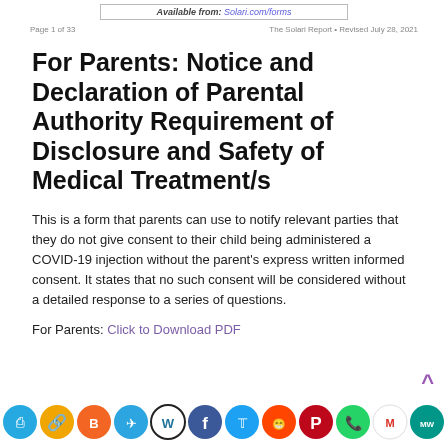Available from: Solari.com/forms
Page 1 of 33    The Solari Report • Revised July 28, 2021
For Parents: Notice and Declaration of Parental Authority Requirement of Disclosure and Safety of Medical Treatment/s
This is a form that parents can use to notify relevant parties that they do not give consent to their child being administered a COVID-19 injection without the parent's express written informed consent. It states that no such consent will be considered without a detailed response to a series of questions.
For Parents: Click to Download PDF